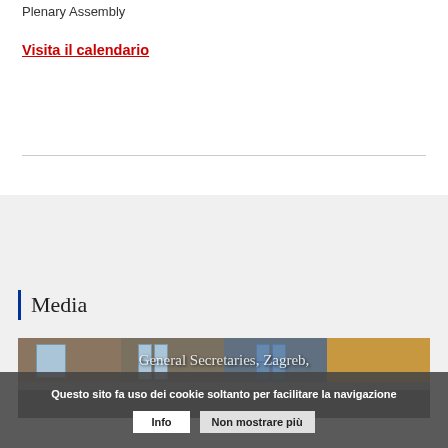Plenary Assembly
Visita il calendario
Media
[Figure (photo): Building facade with windows showing General Secretaries, Zagreb]
General Secretaries, Zagreb,
Questo sito fa uso dei cookie soltanto per facilitare la navigazione
Info
Non mostrare più